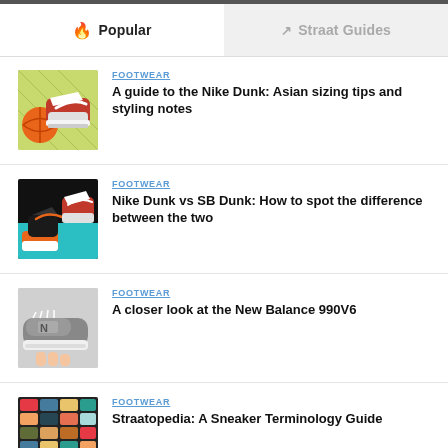Popular | Straat Guides
FOOTWEAR
A guide to the Nike Dunk: Asian sizing tips and styling notes
FOOTWEAR
Nike Dunk vs SB Dunk: How to spot the difference between the two
FOOTWEAR
A closer look at the New Balance 990V6
FOOTWEAR
Straatopedia: A Sneaker Terminology Guide